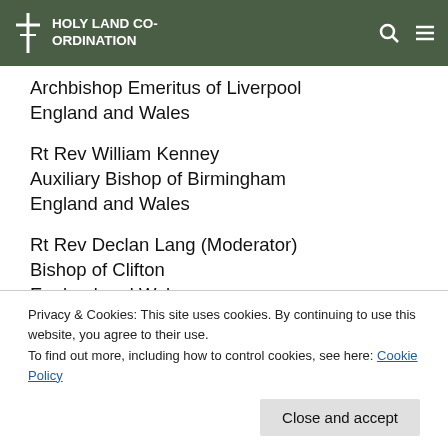HOLY LAND CO-ORDINATION
Archbishop Emeritus of Liverpool
England and Wales
Rt Rev William Kenney
Auxiliary Bishop of Birmingham
England and Wales
Rt Rev Declan Lang (Moderator)
Bishop of Clifton
England and Wales
Privacy & Cookies: This site uses cookies. By continuing to use this website, you agree to their use.
To find out more, including how to control cookies, see here: Cookie Policy
Rt Rev David Malloy